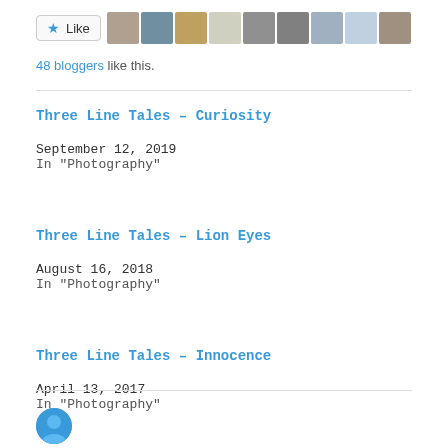[Figure (other): Like button with star icon and row of blogger avatar thumbnails]
48 bloggers like this.
Three Line Tales – Curiosity
September 12, 2019
In "Photography"
Three Line Tales – Lion Eyes
August 16, 2018
In "Photography"
Three Line Tales – Innocence
April 13, 2017
In "Photography"
[Figure (photo): Partial circular avatar photo at bottom left]